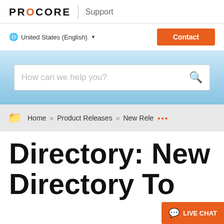PROCORE | Support
United States (English) ▼   Contact
[Figure (screenshot): Search bar with placeholder text 'How can we help you?' on a blue gradient background]
Home » Product Releases » New Rele ...
Directory: New Directory To...
LIVE CHAT